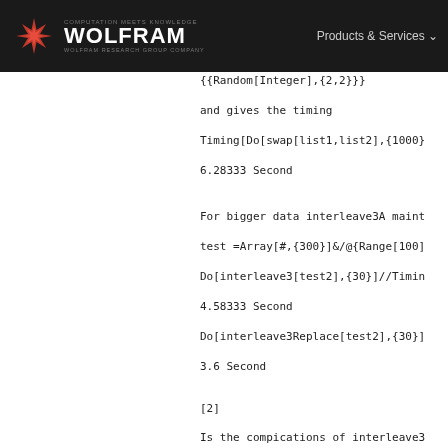WOLFRAM — COMPUTATION MEETS KNOWLEDGE — Products & Services
{{Random[Integer],{2,2}}}
and gives the timing
Timing[Do[swap[list1,list2],{1000}
6.28333 Second
For bigger data interleave3A maint
test =Array[#,{300}]&/@{Range[100]
Do[interleave3[test2],{30}]//Timin
4.58333 Second
Do[interleave3Replace[test2],{30}]
3.6 Second
[2]
Is the compications of interleave3 straightforward use of Block, Modu